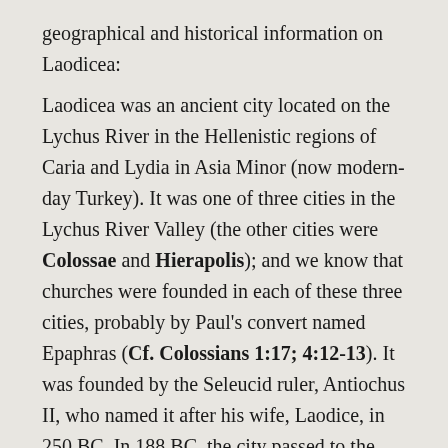geographical and historical information on Laodicea: Laodicea was an ancient city located on the Lychus River in the Hellenistic regions of Caria and Lydia in Asia Minor (now modern-day Turkey). It was one of three cities in the Lychus River Valley (the other cities were Colossae and Hierapolis); and we know that churches were founded in each of these three cities, probably by Paul's convert named Epaphras (Cf. Colossians 1:17; 4:12-13). It was founded by the Seleucid ruler, Antiochus II, who named it after his wife, Laodice, in 250 BC. In 188 BC, the city passed to the Kingdom of Pergamon. After 133 BC, it fell under the Roman Empire and later became the Roman Province of Phrygia. It was located on a major east/west trade route and noted as a banking center. The